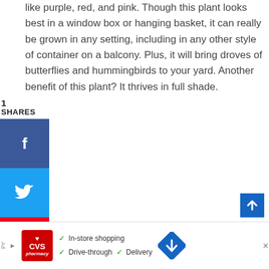like purple, red, and pink. Though this plant looks best in a window box or hanging basket, it can really be grown in any setting, including in any other style of container on a balcony. Plus, it will bring droves of butterflies and hummingbirds to your yard. Another benefit of this plant? It thrives in full shade.
1
SHARES
[Figure (infographic): Facebook share button (blue), Twitter share button (cyan/blue), Pinterest share button (red), each with white social media icons]
[Figure (infographic): CVS Pharmacy advertisement banner showing CVS logo, checkmarks for In-store shopping, Drive-through, and Delivery, and a blue navigation diamond icon]